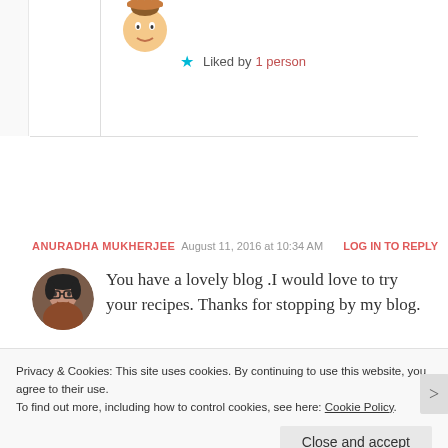[Figure (illustration): Small cartoon avatar illustration at top of comment area]
★ Liked by 1 person
ANURADHA MUKHERJEE   August 11, 2016 at 10:34 AM   LOG IN TO REPLY
[Figure (photo): Profile photo of Anuradha Mukherjee, a woman with glasses]
You have a lovely blog .I would love to try your recipes. Thanks for stopping by my blog.
Privacy & Cookies: This site uses cookies. By continuing to use this website, you agree to their use.
To find out more, including how to control cookies, see here: Cookie Policy